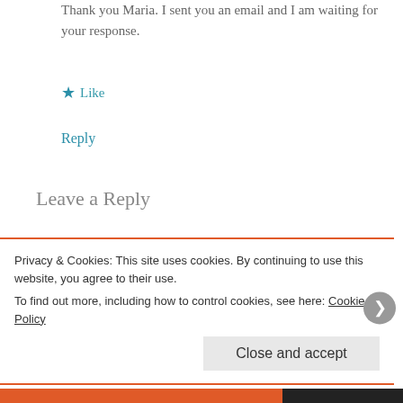Thank you Maria. I sent you an email and I am waiting for your response.
★ Like
Reply
Leave a Reply
Your email address will not be published. Required fields are marked *
Privacy & Cookies: This site uses cookies. By continuing to use this website, you agree to their use. To find out more, including how to control cookies, see here: Cookie Policy
Close and accept